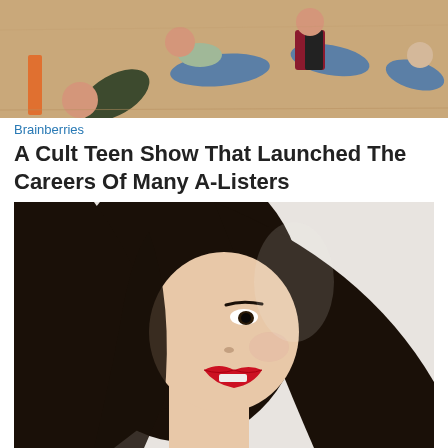[Figure (photo): Group of young people lying on a wooden floor, viewed from above. Casual clothing — olive/dark shirts, jeans, patterned top, dark tank top with red vest.]
Brainberries
A Cult Teen Show That Launched The Careers Of Many A-Listers
[Figure (photo): Close-up portrait of a young Asian woman with long dark hair partially covering her face, wearing bold red lipstick, against a light gray/white background.]